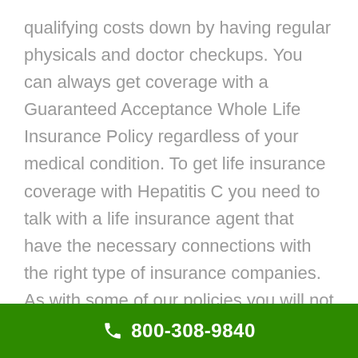qualifying costs down by having regular physicals and doctor checkups. You can always get coverage with a Guaranteed Acceptance Whole Life Insurance Policy regardless of your medical condition. To get life insurance coverage with Hepatitis C you need to talk with a life insurance agent that have the necessary connections with the right type of insurance companies. As with some of our policies you will not have any health questions or medical exam to qualify for coverage. Even If your health condition with
800-308-9840